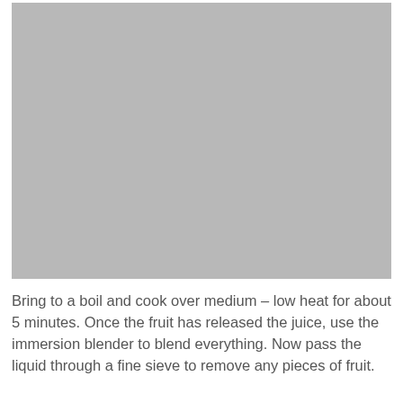[Figure (photo): A large gray placeholder image occupying the upper portion of the page.]
Bring to a boil and cook over medium – low heat for about 5 minutes. Once the fruit has released the juice, use the immersion blender to blend everything. Now pass the liquid through a fine sieve to remove any pieces of fruit.